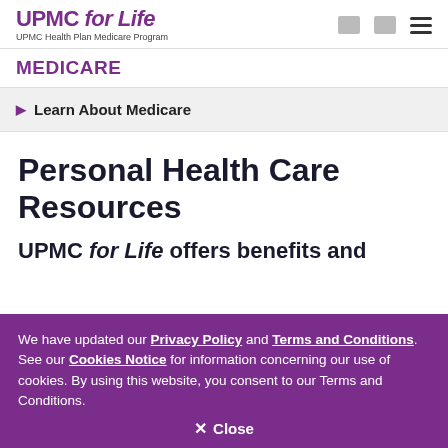UPMC for Life — UPMC Health Plan Medicare Program
MEDICARE
Learn About Medicare
Personal Health Care Resources
UPMC for Life offers benefits and
We have updated our Privacy Policy and Terms and Conditions. See our Cookies Notice for information concerning our use of cookies. By using this website, you consent to our Terms and Conditions.
Close